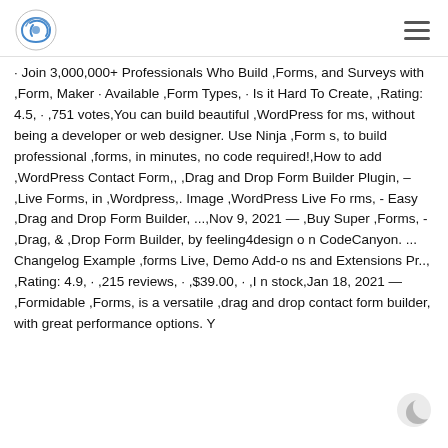[Logo] [Hamburger menu]
· Join 3,000,000+ Professionals Who Build ,Forms, and Surveys with ,Form, Maker · Available ,Form Types, · Is it Hard To Create, ,Rating: 4.5, · ,751 votes,You can build beautiful ,WordPress forms, without being a developer or web designer. Use Ninja ,Forms, to build professional ,forms, in minutes, no code required!,How to add ,WordPress Contact Form,, ,Drag and Drop Form Builder Plugin, – ,Live Forms, in ,Wordpress,. Image ,WordPress Live Forms, - Easy ,Drag and Drop Form Builder, ...,Nov 9, 2021 — ,Buy Super ,Forms, - ,Drag, & ,Drop Form Builder, by feeling4design on CodeCanyon. ... Changelog Example ,forms Live, Demo Add-ons and Extensions Pr.., ,Rating: 4.9, · ,215 reviews, · ,$39.00, · ,In stock,Jan 18, 2021 — ,Formidable ,Forms, is a versatile ,drag and drop contact form builder, with great performance options. Y